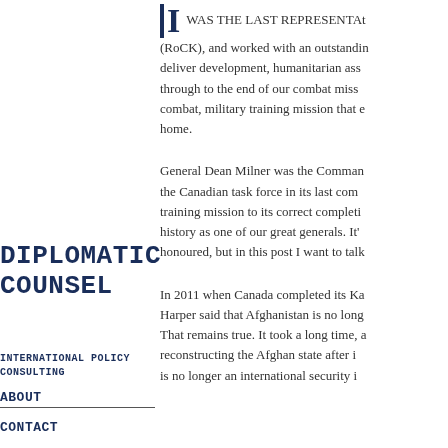I WAS THE LAST REPRESENTA (RoCK), and worked with an outstanding deliver development, humanitarian ass through to the end of our combat miss combat, military training mission that e home.
General Dean Milner was the Comman the Canadian task force in its last com training mission to its correct completi history as one of our great generals. It' honoured, but in this post I want to talk
Diplomatic Counsel
International Policy Consulting
In 2011 when Canada completed its Ka Harper said that Afghanistan is no long That remains true. It took a long time, a reconstructing the Afghan state after i is no longer an international security i
ABOUT
CONTACT